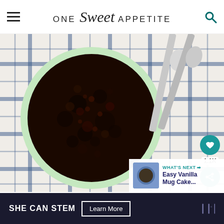ONE Sweet APPETITE
[Figure (photo): Overhead view of a chocolate mug cake in a light green ramekin on a blue and white checkered cloth, with two silver spoons visible in the upper right corner]
1.1K
WHAT'S NEXT → Easy Vanilla Mug Cake...
SHE CAN STEM  Learn More